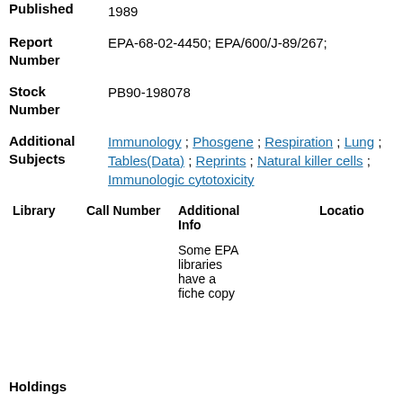Published: 1989
Report Number: EPA-68-02-4450; EPA/600/J-89/267;
Stock Number: PB90-198078
Additional Subjects: Immunology ; Phosgene ; Respiration ; Lung ; Tables(Data) ; Reprints ; Natural killer cells ; Immunologic cytotoxicity
| Library | Call Number | Additional Info | Location |
| --- | --- | --- | --- |
|  |  | Some EPA libraries have a fiche copy |  |
Holdings